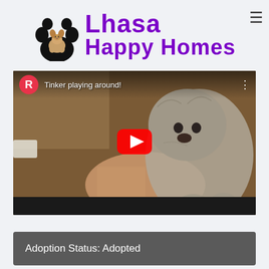[Figure (logo): Lhasa Happy Homes logo with a black paw print containing a small fluffy dog, and the brand name in purple cursive script reading 'Lhasa Happy Homes']
[Figure (screenshot): YouTube video thumbnail showing a small fluffy gray dog (Tinker) playing, with a hand visible. The video title reads 'Tinker playing around!' with a red play button overlay, channel avatar showing letter R, and three-dot menu icon.]
Adoption Status: Adopted